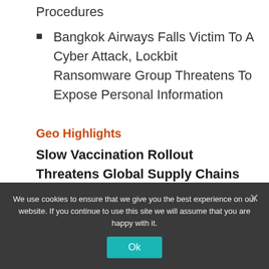Procedures
Bangkok Airways Falls Victim To A Cyber Attack, Lockbit Ransomware Group Threatens To Expose Personal Information
Geo Highlights
Slow Vaccination Rollout Threatens Global Supply Chains and Business Operations
We use cookies to ensure that we give you the best experience on our website. If you continue to use this site we will assume that you are happy with it.